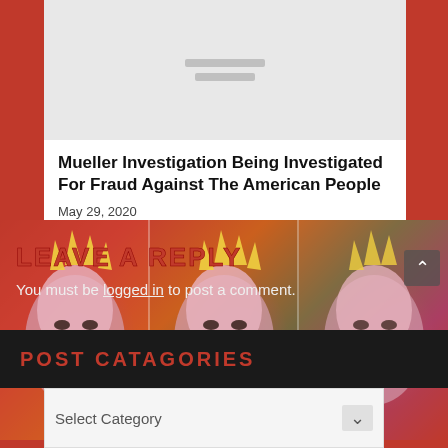[Figure (illustration): Grey placeholder image area with two grey horizontal lines indicating loading or missing image]
Mueller Investigation Being Investigated For Fraud Against The American People
May 29, 2020
[Figure (photo): Tiled repeated pop-art style image of the Statue of Liberty face on red background, appearing three times side by side]
LEAVE A REPLY
You must be logged in to post a comment.
POST CATAGORIES
Select Category